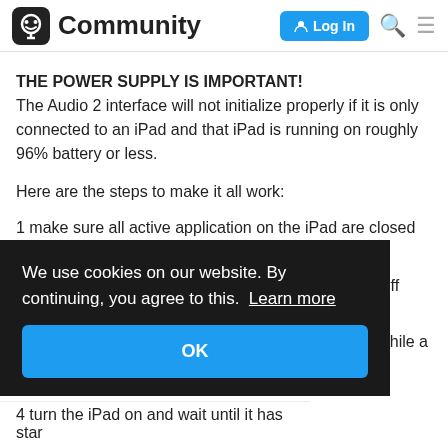Community — Log In
THE POWER SUPPLY IS IMPORTANT!
The Audio 2 interface will not initialize properly if it is only connected to an iPad and that iPad is running on roughly 96% battery or less.
Here are the steps to make it all work:
1 make sure all active application on the iPad are closed (double click home button and swipe them up to quit)
2 shut down the iPad (hold the top button untill turn off appears
[Figure (screenshot): Cookie consent banner overlay with dark background reading 'We use cookies on our website. By continuing, you agree to this. Learn more' and an OK button in blue]
4 turn the iPad on and wait until it has star